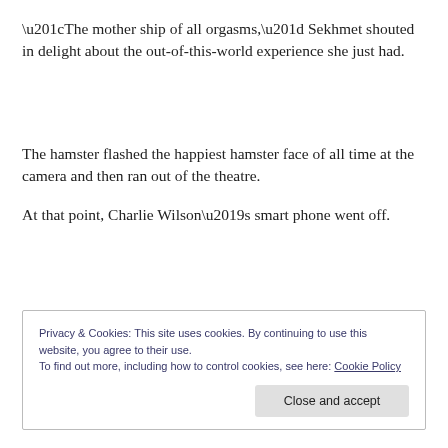“The mother ship of all orgasms,” Sekhmet shouted in delight about the out-of-this-world experience she just had.
The hamster flashed the happiest hamster face of all time at the camera and then ran out of the theatre.
At that point, Charlie Wilson’s smart phone went off.
Privacy & Cookies: This site uses cookies. By continuing to use this website, you agree to their use.
To find out more, including how to control cookies, see here: Cookie Policy